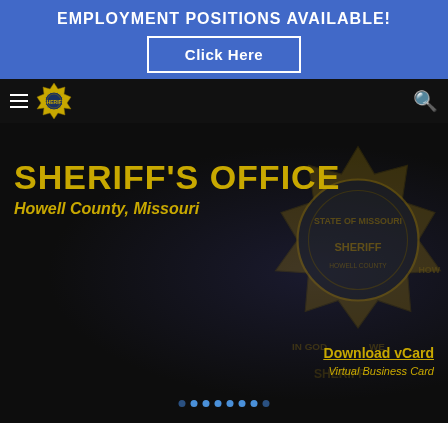EMPLOYMENT POSITIONS AVAILABLE!
Click Here
[Figure (screenshot): Navigation bar with hamburger menu icon, sheriff badge logo, and search icon on dark background]
[Figure (photo): Hero image with dark background showing sheriff badge texture overlay with gold text 'SHERIFF'S OFFICE' and 'Howell County, Missouri', and a 'Download vCard / Virtual Business Card' link]
SHERIFF'S OFFICE
Howell County, Missouri
Download vCard
Virtual Business Card